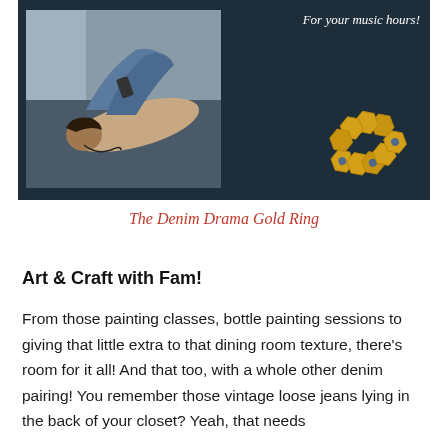[Figure (photo): Dark navy banner image showing a woman lying on a bed listening to music with headphones, wearing jeans, holding a phone. On the right side against the dark background is italic white text 'For your music hours!' and a gold honeycomb-style ring with blue gemstones.]
The Denim Drama Gold Ring
Art & Craft with Fam!
From those painting classes, bottle painting sessions to giving that little extra to that dining room texture, there's room for it all! And that too, with a whole other denim pairing! You remember those vintage loose jeans lying in the back of your closet? Yeah, that needs